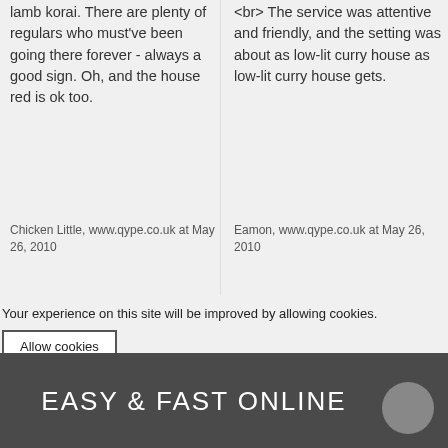lamb korai. There are plenty of regulars who must've been going there forever - always a good sign. Oh, and the house red is ok too.
Chicken Little, www.qype.co.uk at May 26, 2010
<br> The service was attentive and friendly, and the setting was about as low-lit curry house as low-lit curry house gets.
Eamon, www.qype.co.uk at May 26, 2010
Your experience on this site will be improved by allowing cookies.
Allow cookies
EASY & FAST ONLINE